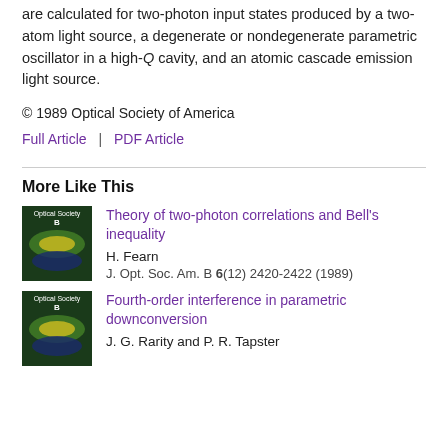are calculated for two-photon input states produced by a two-atom light source, a degenerate or nondegenerate parametric oscillator in a high-Q cavity, and an atomic cascade emission light source.
© 1989 Optical Society of America
Full Article  |  PDF Article
More Like This
Theory of two-photon correlations and Bell's inequality
H. Fearn
J. Opt. Soc. Am. B 6(12) 2420-2422 (1989)
Fourth-order interference in parametric downconversion
J. G. Rarity and P. R. Tapster